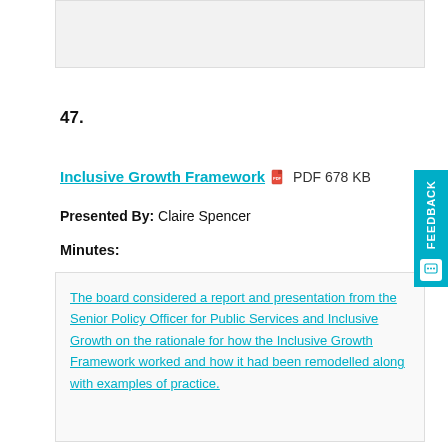[Figure (other): Grey shaded box at top of page, appears to be previous content area]
47.
Inclusive Growth Framework  PDF 678 KB
Presented By: Claire Spencer
Minutes:
The board considered a report and presentation from the Senior Policy Officer for Public Services and Inclusive Growth on the rationale for how the Inclusive Growth Framework worked and how it had been remodelled along with examples of practice.